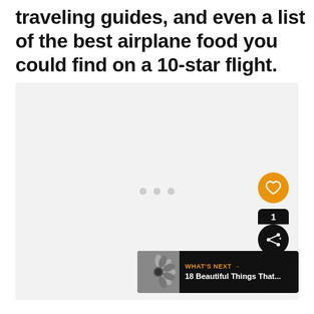traveling guides, and even a list of the best airplane food you could find on a 10-star flight.
[Figure (photo): Light gray placeholder image area with three small gray dots in the center indicating an image carousel or loading state. Social media UI overlay elements visible: an orange heart/like button, a black share button with count '1', and a 'What's Next' bar showing '18 Beautiful Things That...']